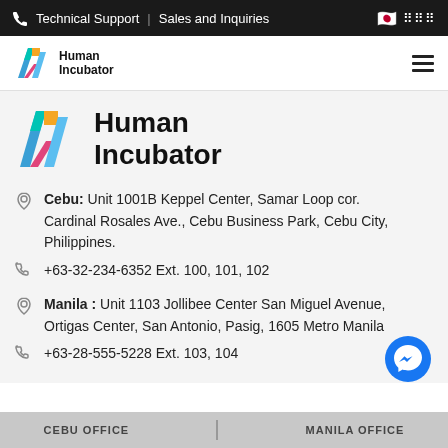Technical Support | Sales and Inquiries
[Figure (logo): Human Incubator logo - small navigation version with colorful H icon and bold text]
[Figure (logo): Human Incubator logo - large version with colorful H icon and bold large text]
Cebu: Unit 1001B Keppel Center, Samar Loop cor. Cardinal Rosales Ave., Cebu Business Park, Cebu City, Philippines.
+63-32-234-6352 Ext. 100, 101, 102
Manila : Unit 1103 Jollibee Center San Miguel Avenue, Ortigas Center, San Antonio, Pasig, 1605 Metro Manila
+63-28-555-5228 Ext. 103, 104
CEBU OFFICE    MANILA OFFICE